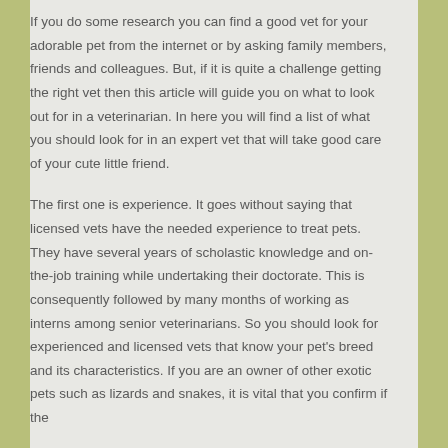If you do some research you can find a good vet for your adorable pet from the internet or by asking family members, friends and colleagues. But, if it is quite a challenge getting the right vet then this article will guide you on what to look out for in a veterinarian. In here you will find a list of what you should look for in an expert vet that will take good care of your cute little friend.
The first one is experience. It goes without saying that licensed vets have the needed experience to treat pets. They have several years of scholastic knowledge and on-the-job training while undertaking their doctorate. This is consequently followed by many months of working as interns among senior veterinarians. So you should look for experienced and licensed vets that know your pet's breed and its characteristics. If you are an owner of other exotic pets such as lizards and snakes, it is vital that you confirm if the